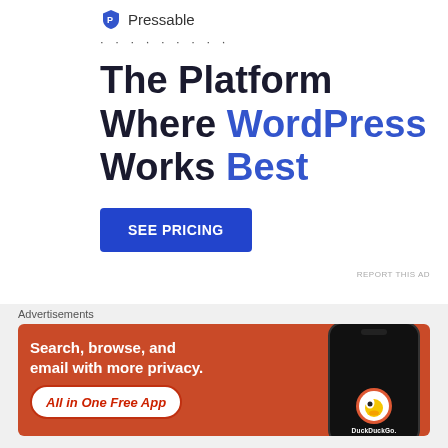[Figure (logo): Pressable logo with blue shield icon and dotted line separator]
The Platform Where WordPress Works Best
SEE PRICING
REPORT THIS AD
Share this:
Twitter  Facebook
Advertisements
[Figure (screenshot): DuckDuckGo advertisement banner: Search, browse, and email with more privacy. All in One Free App. Shows phone with DuckDuckGo logo.]